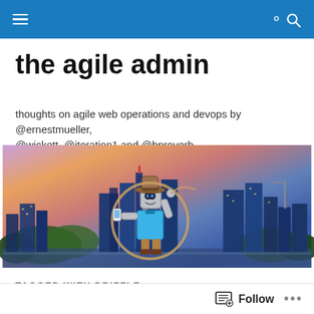the agile admin — navigation bar
the agile admin
thoughts on agile web operations and devops by @ernestmueller, @wickett, @iteration1 and @bproverb
[Figure (photo): Hero image showing a city skyline at sunset with a cartoon robot mascot wearing a cowboy hat, holding a lasso, in front of the skyline]
TAGGED WITH DRIZZLE
Velocity 2010 – Drizzle
Follow